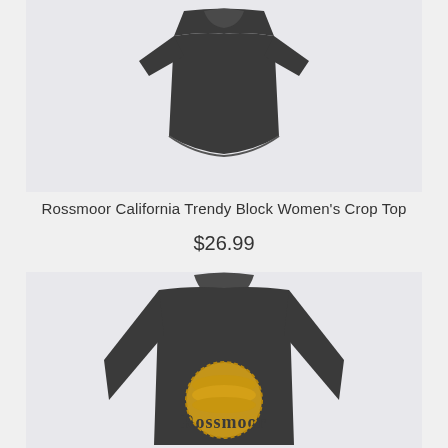[Figure (photo): Dark gray women's crop top shirt on light gray background, shown from front, cropped at bottom]
Rossmoor California Trendy Block Women's Crop Top
$26.99
[Figure (photo): Dark charcoal long sleeve shirt with yellow Rossmoor California graphic/logo on front, shown on light gray background]